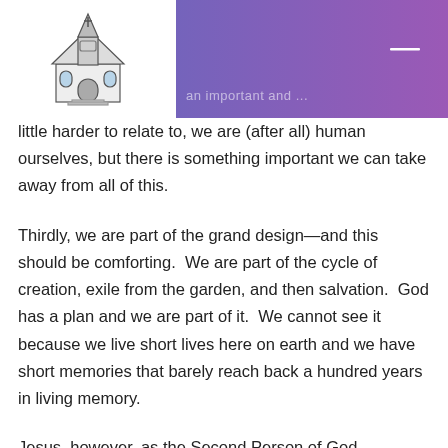little harder to relate to, we are (after all) human ourselves, but there is something important we can take away from all of this.
Thirdly, we are part of the grand design—and this should be comforting. We are part of the cycle of creation, exile from the garden, and then salvation. God has a plan and we are part of it. We cannot see it because we live short lives here on earth and we have short memories that barely reach back a hundred years in living memory.
Jesus, however, as the Second Person of God, remembers all time. He remembers Creation and all that comes after it all the way up to what was the “present” (his crucifixion and resurrection). He knows it all, he remembers it all, and he sees the pattern and how it fits into the...